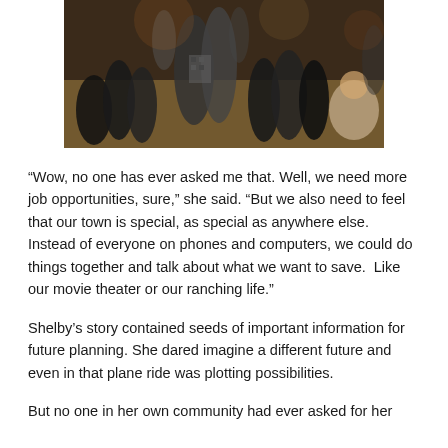[Figure (photo): A photograph of people at a community gathering or dance event, crowd of people in a large room with warm lighting.]
“Wow, no one has ever asked me that. Well, we need more job opportunities, sure,” she said. “But we also need to feel that our town is special, as special as anywhere else. Instead of everyone on phones and computers, we could do things together and talk about what we want to save.  Like our movie theater or our ranching life.”
Shelby’s story contained seeds of important information for future planning. She dared imagine a different future and even in that plane ride was plotting possibilities.
But no one in her own community had ever asked for her